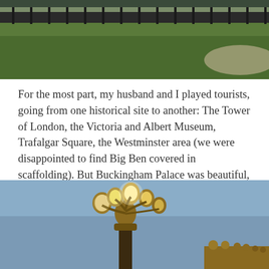[Figure (photo): Top portion of a photo showing a grassy area with iron railings/fence in the background and a paved path, likely near a London landmark.]
For the most part, my husband and I played tourists, going from one historical site to another: The Tower of London, the Victoria and Albert Museum, Trafalgar Square, the Westminster area (we were disappointed to find Big Ben covered in scaffolding). But Buckingham Palace was beautiful, especially at the end of day when the lights came on.
[Figure (photo): Photo of ornate golden lamp posts lit up at dusk with a blue sky background, taken near Buckingham Palace.]